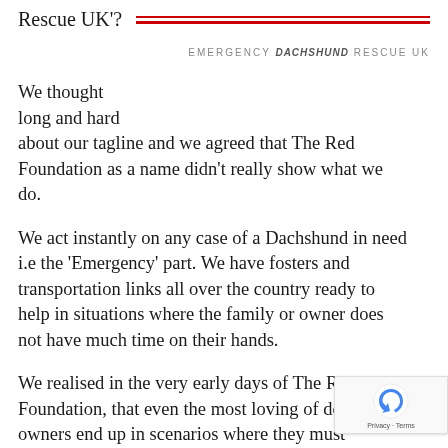Rescue UK'?
[Figure (logo): Emergency Dachshund Rescue UK logo with two red horizontal lines and text in grey uppercase letters]
We thought long and hard about our tagline and we agreed that The Red Foundation as a name didn't really show what we do.
We act instantly on any case of a Dachshund in need i.e the 'Emergency' part. We have fosters and transportation links all over the country ready to help in situations where the family or owner does not have much time on their hands.
We realised in the very early days of The Red Foundation, that even the most loving of dog owners end up in scenarios where they must rehome their dachshund and sometimes even w 24 hour time frame.
[Figure (other): reCAPTCHA badge with blue arrow icon and Privacy - Terms text]